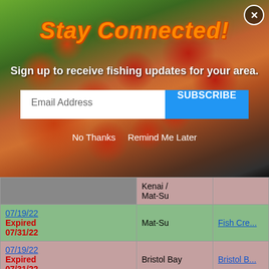[Figure (screenshot): Modal popup overlay showing a fish (brook trout) background image with 'Stay Connected!' title in orange italic font, email subscription form with 'Email Address' input and blue 'SUBSCRIBE' button, plus 'No Thanks' and 'Remind Me Later' links. A close (X) button in top-right corner.]
| Date | Region | Water |
| --- | --- | --- |
|  | Kenai / Mat-Su |  |
| 07/19/22 Expired 07/31/22 | Mat-Su | Fish Cre... |
| 07/19/22 Expired 07/31/22 | Bristol Bay | Bristol B... |